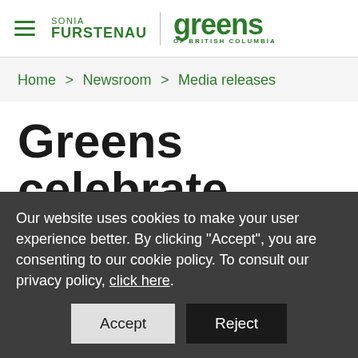SONIA FURSTENAU | greens OF BRITISH COLUMBIA
Home > Newsroom > Media releases
Greens celebrate
Our website uses cookies to make your user experience better. By clicking "Accept", you are consenting to our cookie policy. To consult our privacy policy, click here.